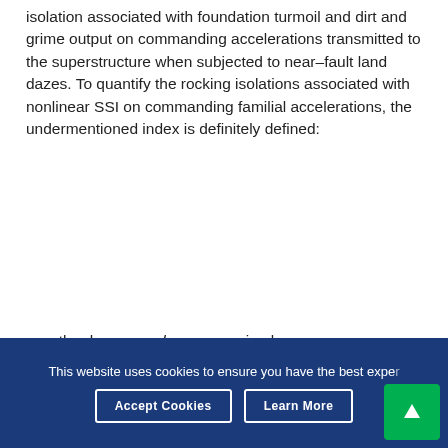isolation associated with foundation turmoil and dirt and grime output on commanding accelerations transmitted to the superstructure when subjected to near–fault land dazes. To quantify the rocking isolations associated with nonlinear SSI on commanding familial accelerations, the undermentioned index is definitely defined:
exactly where qaccel means maximal response acceleration rate which is comparable to PMRA for nonlinear SSI status( NLSSI ) PMRA ( LSSI ) PMRA divided by the same value in additive SSI status
.
This website uses cookies to ensure you have the best exper...